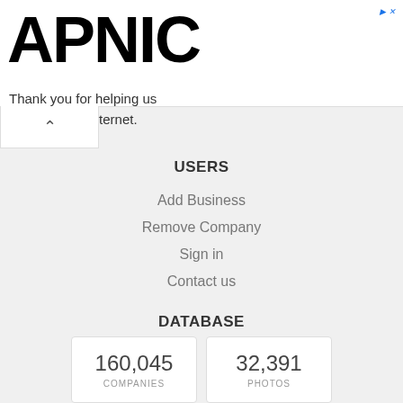APNIC — Thank you for helping us measure the Internet.
USERS
Add Business
Remove Company
Sign in
Contact us
DATABASE
| Metric | Value |
| --- | --- |
| COMPANIES | 160,045 |
| PHOTOS | 32,391 |
| REVIEWS | 6,880 |
| PRODUCTS | 19,399 |